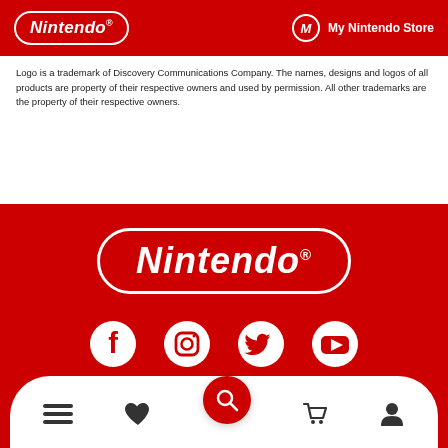Nintendo | My Nintendo Store
Logo is a trademark of Discovery Communications Company. The names, designs and logos of all products are property of their respective owners and used by permission. All other trademarks are the property of their respective owners.
[Figure (logo): Nintendo logo large white in red pill shape]
[Figure (infographic): Social media icons: Facebook, Instagram, Twitter, YouTube]
[Figure (infographic): Bottom navigation bar with menu, heart/wishlist, search (red circle), cart, and account icons. Below: About Nintendo | Shop]
About Nintendo | Shop